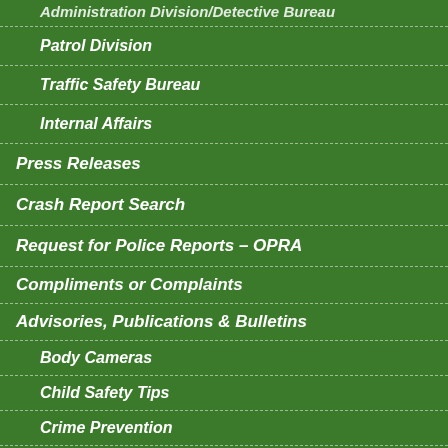Administration Division/Detective Bureau
Patrol Division
Traffic Safety Bureau
Internal Affairs
Press Releases
Crash Report Search
Request for Police Reports – OPRA
Compliments or Complaints
Advisories, Publications & Bulletins
Body Cameras
Child Safety Tips
Crime Prevention
Home Security